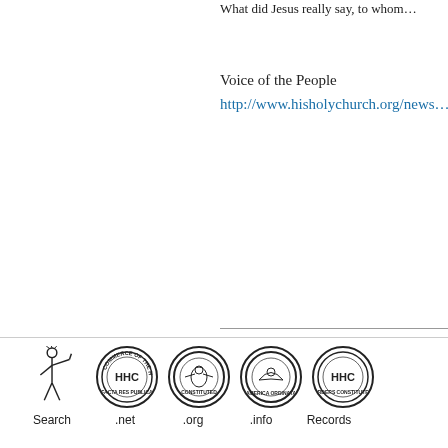What did Jesus really say, to whom…
Voice of the People
http://www.hisholychurch.org/news…
• Page Last Updated on March 16 in the year…
[Figure (logo): Five circular/emblem logos and one standing figure illustration at the bottom of the page, with labels: Search, .net, .org, .info, Records]
Search  .net  .org  .info  Records